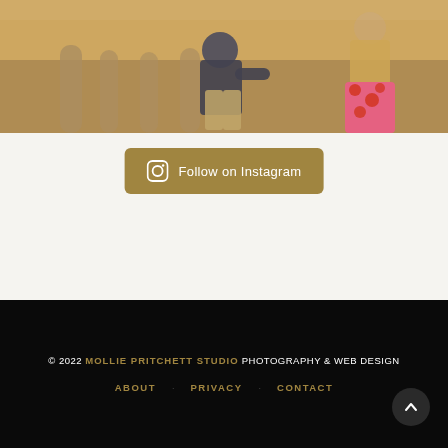[Figure (photo): Photo of a man kneeling/sitting on stone balustrade steps, wearing a dark blue shirt and khaki pants, with a woman in a bright pink floral skirt and tan jacket standing nearby. Warm golden light in background suggesting sunset.]
Follow on Instagram
© 2022 MOLLIE PRITCHETT STUDIO PHOTOGRAPHY & WEB DESIGN  ABOUT  PRIVACY  CONTACT